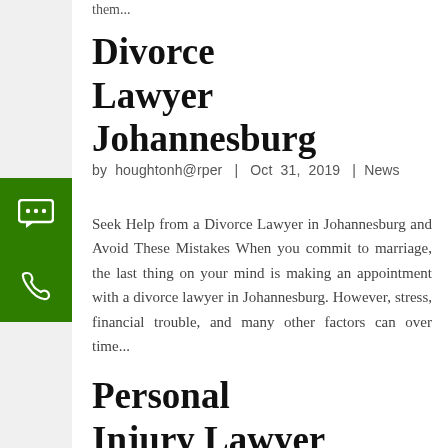them...
Divorce Lawyer Johannesburg
by houghtonh@rper | Oct 31, 2019 | News
Seek Help from a Divorce Lawyer in Johannesburg and Avoid These Mistakes When you commit to marriage, the last thing on your mind is making an appointment with a divorce lawyer in Johannesburg. However, stress, financial trouble, and many other factors can over time...
Personal Injury Lawyer